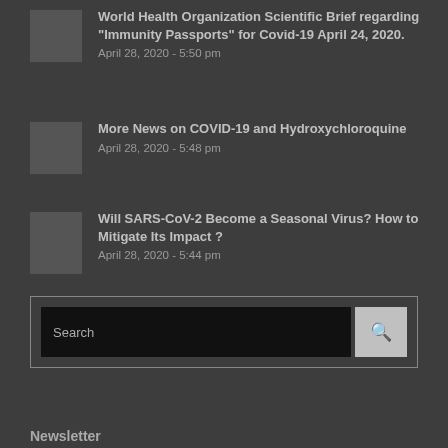World Health Organization Scientific Brief regarding “Immunity Passports” for Covid-19 April 24, 2020.
April 28, 2020 - 5:50 pm
More News on COVID-19 and Hydroxychloroquine
April 28, 2020 - 5:48 pm
Will SARS-CoV-2 Become a Seasonal Virus? How to Mitigate Its Impact ?
April 28, 2020 - 5:44 pm
Search
Newsletter